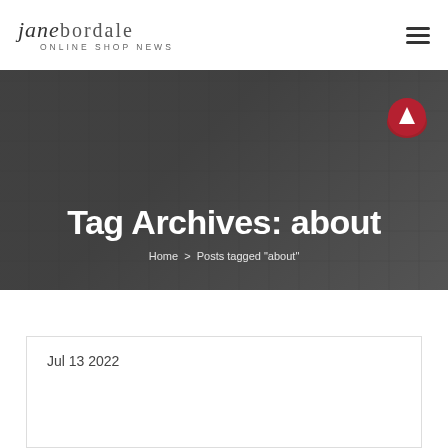jane bordale Online Shop News
Tag Archives: about
Home > Posts tagged "about"
Jul 13 2022